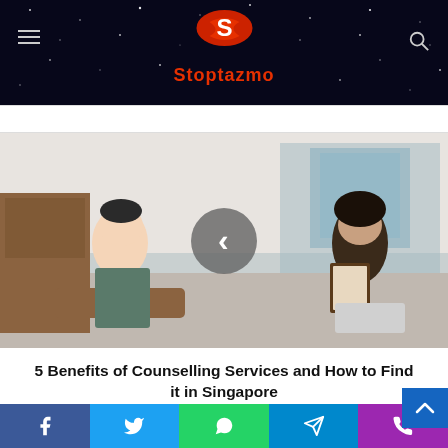[Figure (logo): Stoptazmo website logo with red S icon and red text on dark starry background header]
[Figure (photo): Two people in a counselling session — a man sitting on a brown sofa and a woman holding a clipboard, indoor setting]
5 Benefits of Counselling Services and How to Find it in Singapore
[Figure (photo): Partial bottom image visible, colorful content]
[Figure (infographic): Social media sharing bar with Facebook, Twitter, WhatsApp, Telegram, and Phone icons]